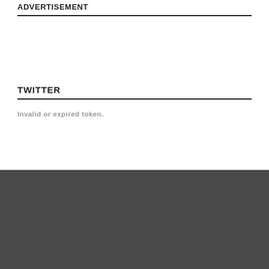ADVERTISEMENT
TWITTER
Invalid or expired token.